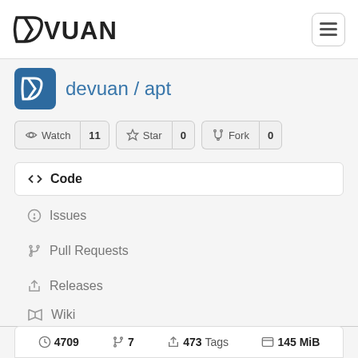Devuan logo and hamburger menu
devuan / apt
Watch 11 | Star 0 | Fork 0
<> Code
Issues
Pull Requests
Releases
Wiki
Activity
4709 | 7 | 473 Tags | 145 MiB